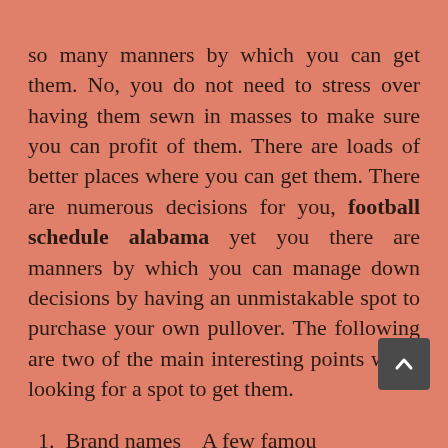so many manners by which you can get them. No, you do not need to stress over having them sewn in masses to make sure you can profit of them. There are loads of better places where you can get them. There are numerous decisions for you, football schedule alabama yet you there are manners by which you can manage down decisions by having an unmistakable spot to purchase your own pullover. The following are two of the main interesting points while looking for a spot to get them.
1. Brand names    A few famou...